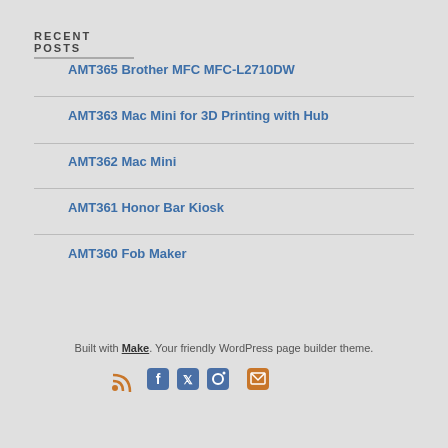Recent Posts
AMT365 Brother MFC MFC-L2710DW
AMT363 Mac Mini for 3D Printing with Hub
AMT362 Mac Mini
AMT361 Honor Bar Kiosk
AMT360 Fob Maker
Built with Make. Your friendly WordPress page builder theme.